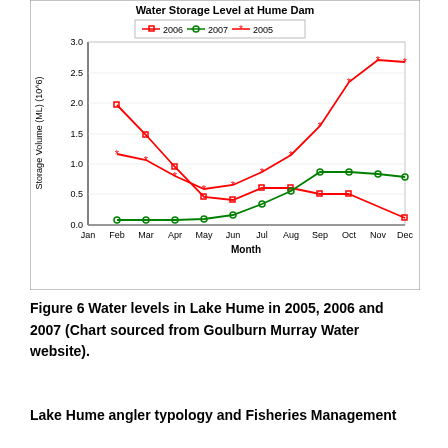[Figure (line-chart): Water Storage Level at Hume Dam]
Figure 6 Water levels in Lake Hume in 2005, 2006 and 2007 (Chart sourced from Goulburn Murray Water website).
Lake Hume angler typology and Fisheries Management